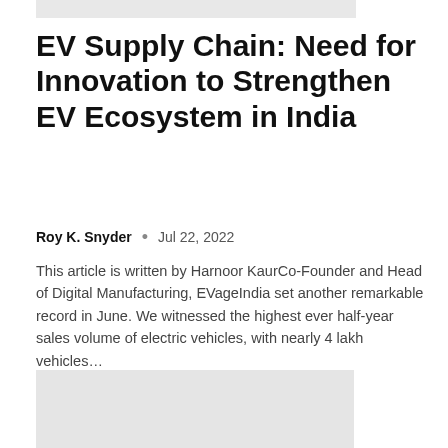[Figure (other): Light gray placeholder bar at top of page]
EV Supply Chain: Need for Innovation to Strengthen EV Ecosystem in India
Roy K. Snyder  •  Jul 22, 2022
This article is written by Harnoor KaurCo-Founder and Head of Digital Manufacturing, EVageIndia set another remarkable record in June. We witnessed the highest ever half-year sales volume of electric vehicles, with nearly 4 lakh vehicles…
[Figure (other): Light gray image placeholder rectangle]